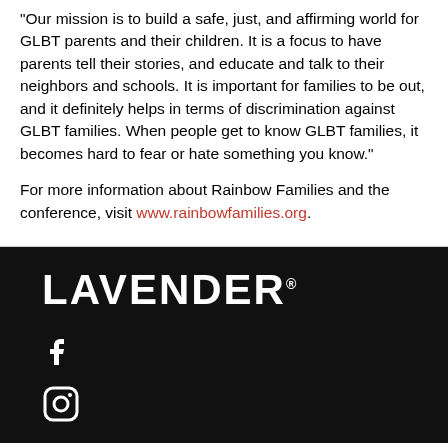"Our mission is to build a safe, just, and affirming world for GLBT parents and their children. It is a focus to have parents tell their stories, and educate and talk to their neighbors and schools. It is important for families to be out, and it definitely helps in terms of discrimination against GLBT families. When people get to know GLBT families, it becomes hard to fear or hate something you know."
For more information about Rainbow Families and the conference, visit www.rainbowfamilies.org.
[Figure (logo): LAVENDER magazine logo in white bold uppercase text on black background, with social media icons (Facebook, Instagram) below]